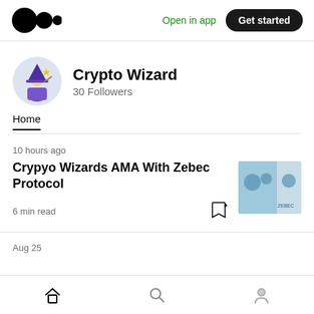Medium logo | Open in app | Get started
Crypto Wizard
30 Followers
Home
10 hours ago
Crypyo Wizards AMA With Zebec Protocol
6 min read
Aug 25
Home | Search | Profile